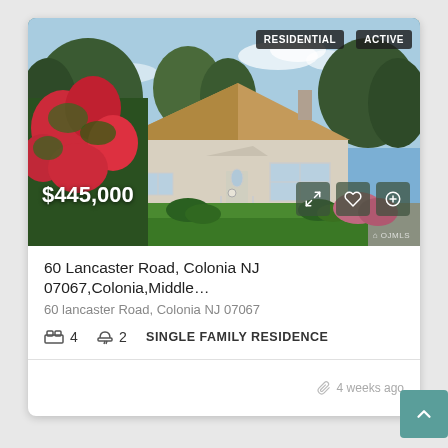[Figure (photo): Exterior photo of a single-family residential home at 60 Lancaster Road, Colonia NJ. A ranch-style house with tan siding and brown roof, green lawn, red flowering bushes in foreground, blue sky with trees in background. Badges reading RESIDENTIAL and ACTIVE visible in top-right corner. Price $445,000 shown at bottom-left. Action icons (expand, heart, plus) at bottom-right.]
60 Lancaster Road, Colonia NJ 07067,Colonia,Middle…
60 lancaster Road, Colonia NJ 07067
4   2   SINGLE FAMILY RESIDENCE
4 weeks ago